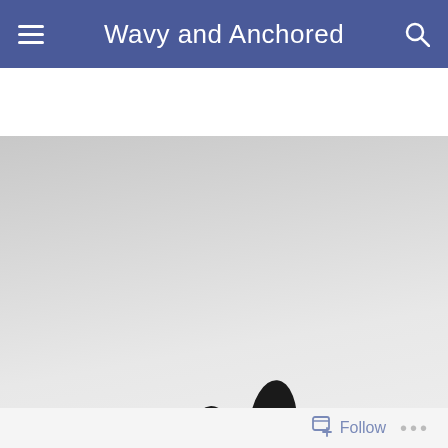Wavy and Anchored
[Figure (photo): Black and white minimalist photograph showing what appears to be toes or feet peeking up from the bottom of the frame against a light gray gradient background, resembling a person lying down with feet raised.]
Follow ...